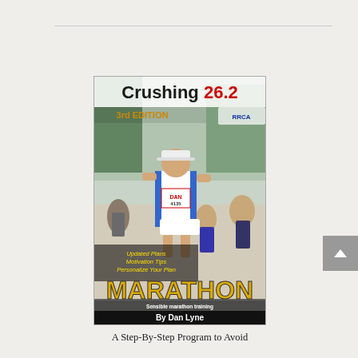[Figure (illustration): Book cover for 'Crushing 26.2' 3rd Edition by Dan Lyne. Shows a marathon runner wearing bib number 4135 labeled 'DAN' running in a race with other runners. Title text 'Crushing 26.2' at top in bold black and red, '3rd EDITION' in yellow-orange, 'MARATHON' in large yellow text. Subtitle: 'Sensible marathon training techniques and tips from an experienced marathoner'. Author: 'By Dan Lyne' in white on black bar.]
A Step-By-Step Program to Avoid Injury, Have Fun & Finish the Big